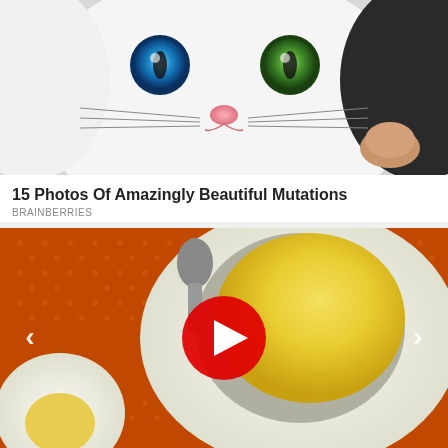[Figure (photo): Close-up photo of a white cat with heterochromia: one blue eye and one green eye, pink nose, white fur]
15 Photos Of Amazingly Beautiful Mutations
BRAINBERRIES
[Figure (photo): Close-up photo of a halved hard-boiled egg with yellow yolk on an orange dotted background, with a red circular play button overlay, left and right navigation arrows]
How Eating Once A Day Affects Your Body